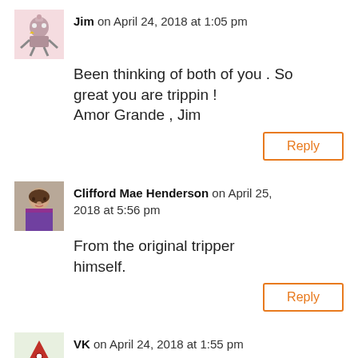Jim on April 24, 2018 at 1:05 pm
Been thinking of both of you . So great you are trippin !
Amor Grande , Jim
Reply
Clifford Mae Henderson on April 25, 2018 at 5:56 pm
From the original tripper himself.
Reply
VK on April 24, 2018 at 1:55 pm
Loving your adventures!